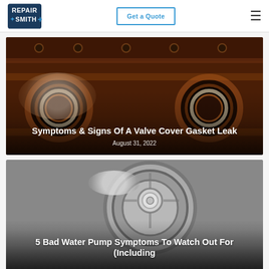RepairSmith — Get a Quote
[Figure (photo): Close-up photo of a valve cover or engine block showing circular openings and bolts with orange/brown oil residue, with white text overlay showing article title and date]
Symptoms & Signs Of A Valve Cover Gasket Leak
August 31, 2022
[Figure (photo): Close-up grayscale photo of a water pump component showing a circular metal part with a bolt in the center, with white text overlay showing article title]
5 Bad Water Pump Symptoms To Watch Out For (Including